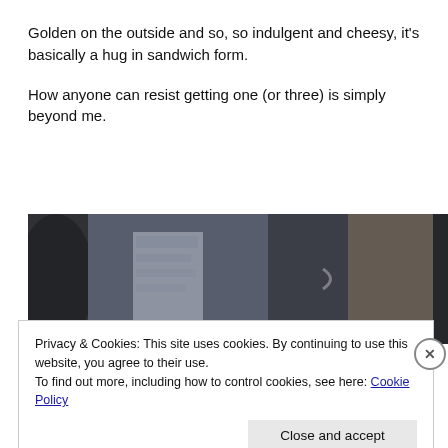Golden on the outside and so, so indulgent and cheesy, it's basically a hug in sandwich form.
How anyone can resist getting one (or three) is simply beyond me.
[Figure (photo): Blurry street scene photo showing people near a shop door with signs visible in the background]
Privacy & Cookies: This site uses cookies. By continuing to use this website, you agree to their use.
To find out more, including how to control cookies, see here: Cookie Policy
Close and accept